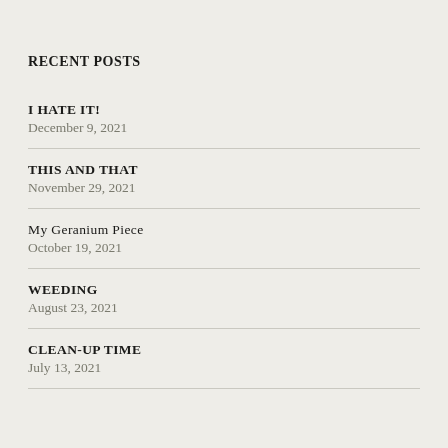RECENT POSTS
I HATE IT!
December 9, 2021
THIS AND THAT
November 29, 2021
My Geranium Piece
October 19, 2021
WEEDING
August 23, 2021
CLEAN-UP TIME
July 13, 2021
CATEGORIES